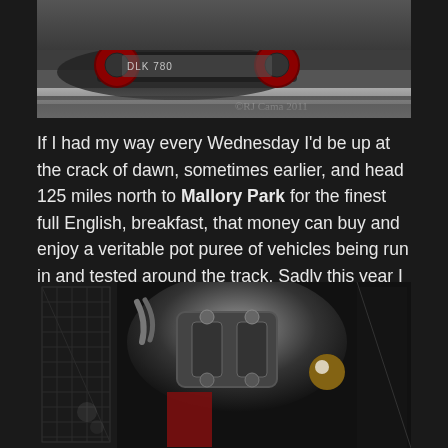[Figure (photo): Vintage racing car on a track, showing a low-angle view of a single-seater race car with red wheels and a visible license plate reading DLK 780, with a watermark reading ©RJ Cama 2011]
If I had my way every Wednesday I'd be up at the crack of dawn, sometimes earlier, and head 125 miles north to Mallory Park for the finest full English, breakfast, that money can buy and enjoy a veritable pot puree of vehicles being run in and tested around the track. Sadly this year I only made it the twice but it was worth it, where else could I see a vintage Riley being driven flat out next to a spec series Ford Ranger ?
[Figure (photo): Close-up photograph of a vintage motorcycle or car engine, showing chrome and black metal components including cylinders, pipes and mechanical parts against a dark background]